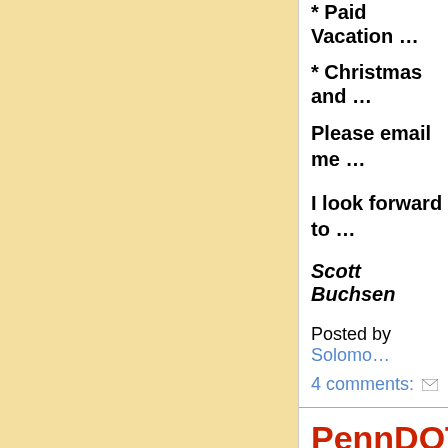* Paid Vacation …
* Christmas and …
Please email me …
I look forward to …
Scott Buchsen
Posted by Solomo…
4 comments:
PennDOT Afternoon…
Rapid a…